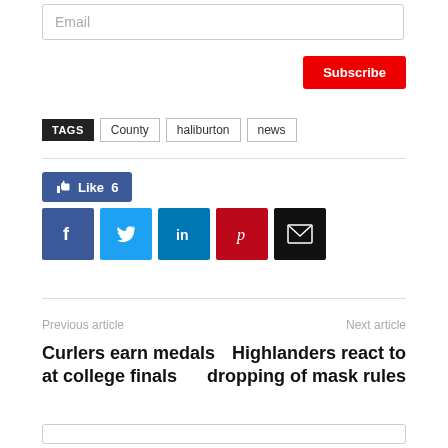Email
Subscribe
TAGS  County  haliburton  news
Like 6
[Figure (infographic): Social share buttons: Facebook, Twitter, LinkedIn, Pinterest, Email]
Previous article
Next article
Curlers earn medals at college finals
Highlanders react to dropping of mask rules